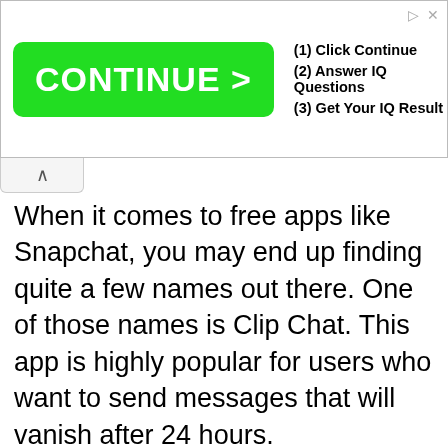[Figure (screenshot): Advertisement banner with green CONTINUE > button and steps: (1) Click Continue, (2) Answer IQ Questions, (3) Get Your IQ Result]
When it comes to free apps like Snapchat, you may end up finding quite a few names out there. One of those names is Clip Chat. This app is highly popular for users who want to send messages that will vanish after 24 hours.
We use cookies on our website to give you the most relevant experience by remembering your preferences and repeat visits. By clicking “Accept”, you consent to the use of ALL the cookies.
Do not sell my personal information.
Cookie settings   ACCEPT   Reject